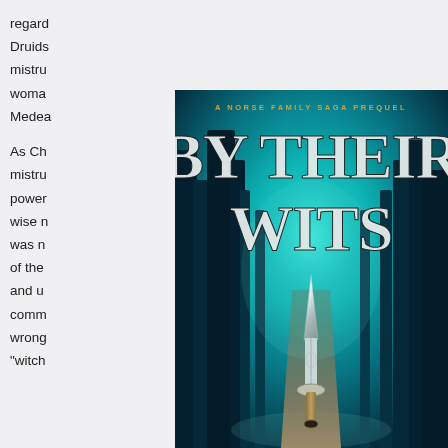regard
Druids
mistru
woma
Medea
As Ch
mistru
power
wise n
was n
of the
and u
comm
wrong
"witch
[Figure (illustration): Book cover for 'By Their Wits', described as 'A Norse Family Saga Prequel'. Cover shows large serif title text in silver/white on a dark teal background depicting a misty enchanted forest with glowing light. A white/silver ornate dagger or spear is centered in the lower half of the cover.]